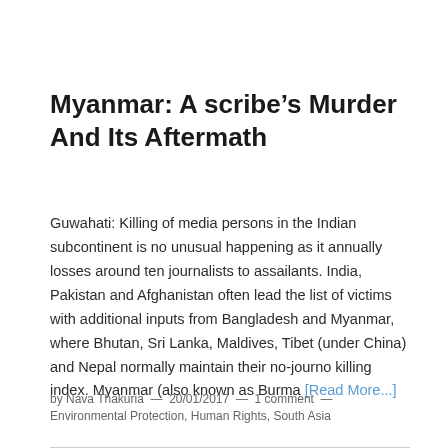Myanmar: A scribe’s Murder And Its Aftermath
Guwahati: Killing of media persons in the Indian subcontinent is no unusual happening as it annually losses around ten journalists to assailants. India, Pakistan and Afghanistan often lead the list of victims with additional inputs from Bangladesh and Myanmar, where Bhutan, Sri Lanka, Maldives, Tibet (under China) and Nepal normally maintain their no-journo killing index. Myanmar (also known as Burma [Read More...]
by Nava Thakuria — 20/01/2017 — 1 comment — Environmental Protection, Human Rights, South Asia